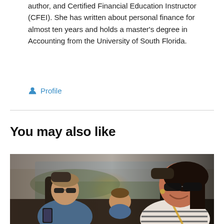author, and Certified Financial Education Instructor (CFEI). She has written about personal finance for almost ten years and holds a master's degree in Accounting from the University of South Florida.
Profile
You may also like
[Figure (photo): A family of three (man with sunglasses, child in back seat, woman with sunglasses in passenger seat) smiling inside a car on a road trip, with sunlight coming through the windshield.]